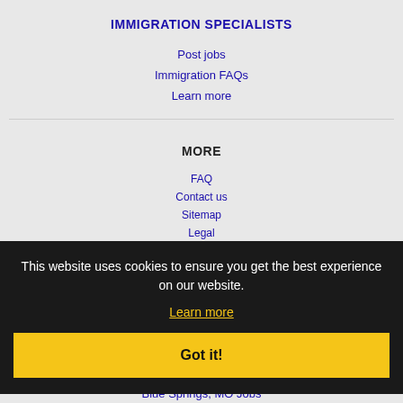IMMIGRATION SPECIALISTS
Post jobs
Immigration FAQs
Learn more
MORE
FAQ
Contact us
Sitemap
Legal
Privacy
This website uses cookies to ensure you get the best experience on our website.
Learn more
Got it!
NEARBY CITIES
Blue Springs, MO Jobs